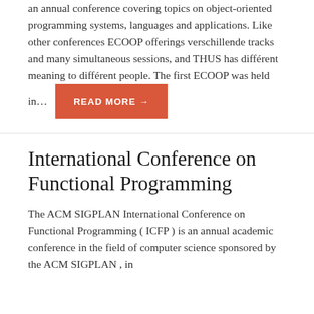an annual conference covering topics on object-oriented programming systems, languages and applications. Like other conferences ECOOP offerings verschillende tracks and many simultaneous sessions, and THUS has différent meaning to différent people. The first ECOOP was held in...
READ MORE →
International Conference on Functional Programming
The ACM SIGPLAN International Conference on Functional Programming ( ICFP ) is an annual academic conference in the field of computer science sponsored by the ACM SIGPLAN , in